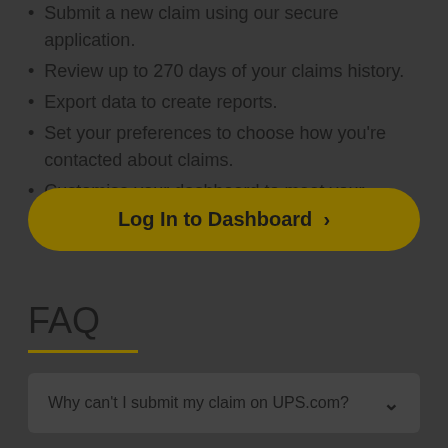Submit a new claim using our secure application.
Review up to 270 days of your claims history.
Export data to create reports.
Set your preferences to choose how you're contacted about claims.
Customise your dashboard to meet your needs.
[Figure (other): Log In to Dashboard button with gold/yellow-brown rounded pill shape and chevron arrow]
FAQ
Why can't I submit my claim on UPS.com?